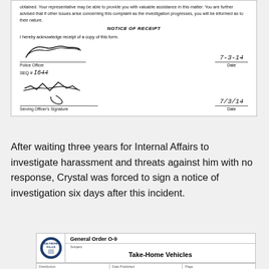[Figure (other): Scanned police form section showing: advisory text about representation, NOTICE OF RECEIPT heading, acknowledgment statement, Police Officer signature, date 7-3-14, SEQ # I644, Serving Officer's Signature, date 7/3/14]
After waiting three years for Internal Affairs to investigate harassment and threats against him with no response, Crystal was forced to sign a notice of investigation six days after this incident.
[Figure (other): Bottom of Baltimore Police General Order O-9 form with logo, Subject: Take-Home Vehicles, Distribution, Date Published (1 September 2014), Page fields visible]